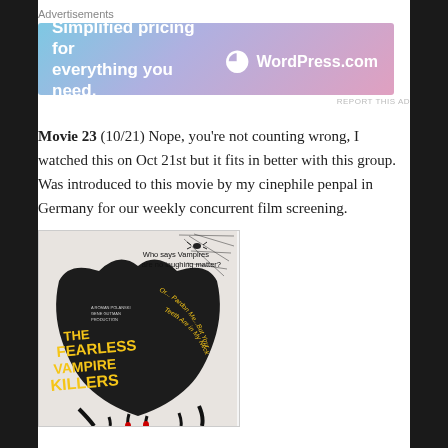Advertisements
[Figure (other): WordPress.com advertisement banner: 'Simplified pricing for everything you need.' with WordPress.com logo]
REPORT THIS AD
Movie 23 (10/21) Nope, you're not counting wrong, I watched this on Oct 21st but it fits in better with this group. Was introduced to this movie by my cinephile penpal in Germany for our weekly concurrent film screening.
[Figure (photo): Movie poster for 'The Fearless Vampire Killers' with text 'Who says Vampires are no laughing matter?' and subtitle 'Or: Pardon Me, But Your Teeth Are in My Neck']